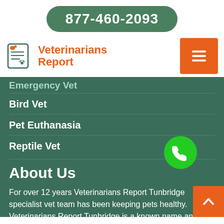877-460-2093
[Figure (logo): Veterinarians Report logo with pet/document icon and orange text]
Emergency Vet
Bird Vet
Pet Euthanasia
Reptile Vet
About Us
For over 12 years Veterinarians Report Tunbridge specialist vet team has been keeping pets healthy. Veterinarians Report Tunbridge is a known name and acclaimed for exceptional pet health, care, and welfare of animals. Our